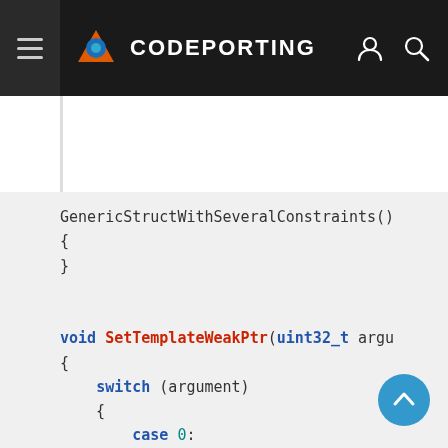CODEPORTING
[Figure (screenshot): Code snippet showing C++ code with GenericStructWithSeveralConstraints(), void SetTemplateWeakPtr(uint32_t argu function with switch(argument) statement containing case 0: and break;]